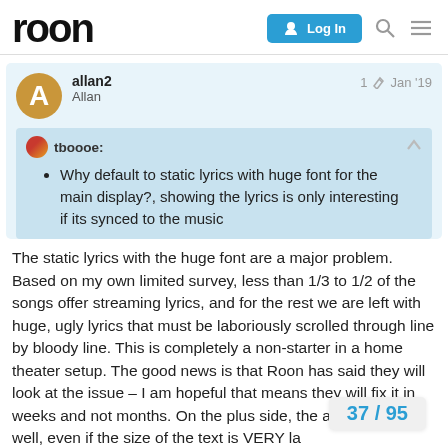roon
allan2
Allan
1 Jan '19
tboooe:
Why default to static lyrics with huge font for the main display?, showing the lyrics is only interesting if its synced to the music
The static lyrics with the huge font are a major problem. Based on my own limited survey, less than 1/3 to 1/2 of the songs offer streaming lyrics, and for the rest we are left with huge, ugly lyrics that must be laboriously scrolled through line by bloody line. This is completely a non-starter in a home theater setup. The good news is that Roon has said they will look at the issue – I am hopeful that means they will fix it in weeks and not months. On the plus side, the automatic sc well, even if the size of the text is VERY la
37 / 95